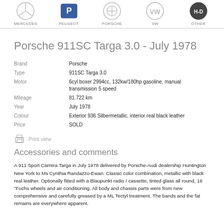MERCEDES | PEUGEOT | PORSCHE | VW | OTHER
Porsche 911SC Targa 3.0 - July 1978
| Field | Value |
| --- | --- |
| Brand | Porsche |
| Type | 911SC Targa 3.0 |
| Motor | 6cyl boxer 2994cc, 132kw/180hp gasoline, manual transmission 5 speed |
| Mileage | 81.722 km |
| Year | July 1978 |
| Colour | Exterior 936 Silbermetallic, interior real black leather |
| Price | SOLD |
Print view
Accessories and comments
A 911 Sport Carrera Targa in July 1978 delivered by Porsche-Audi dealership Huntington New York to Ms Cynthia Randazzo-Ewan. Classic color combination, metallic with black real leather. Optionally fitted with a Blaupunkt radio / cassette, tinted glass all round, 16 "Fuchs wheels and air conditioning. All body and chassis parts were from new comprehensive and carefully greased by a ML Tectyl treatment. The bands and the fat remains are everywhere apparent.